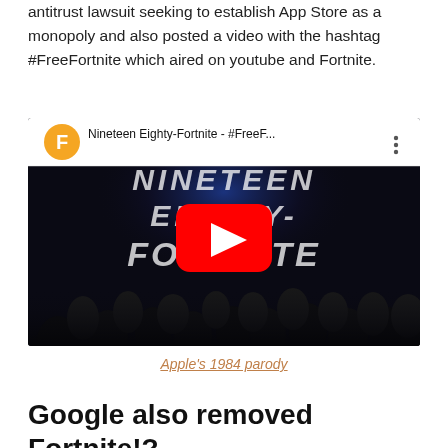antitrust lawsuit seeking to establish App Store as a monopoly and also posted a video with the hashtag #FreeFortnite which aired on youtube and Fortnite.
[Figure (screenshot): YouTube video thumbnail showing 'Nineteen Eighty-Fortnite - #FreeF...' with a YouTube play button overlay on a dark cinematic image of silhouetted audience watching a projected screen reading 'NINETEEN EIGHTY-FORTNITE'. The video header shows a Fortnite-branded 'F' logo icon.]
Apple's 1984 parody
Google also removed Fortnite!?